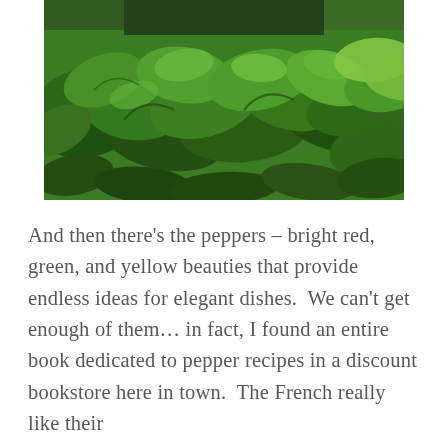[Figure (photo): Close-up photo of fresh green leafy vegetables (basil or lettuce) displayed in a market or garden setting, with lush green leaves filling the frame.]
And then there's the peppers – bright red, green, and yellow beauties that provide endless ideas for elegant dishes.  We can't get enough of them… in fact, I found an entire book dedicated to pepper recipes in a discount bookstore here in town.  The French really like their